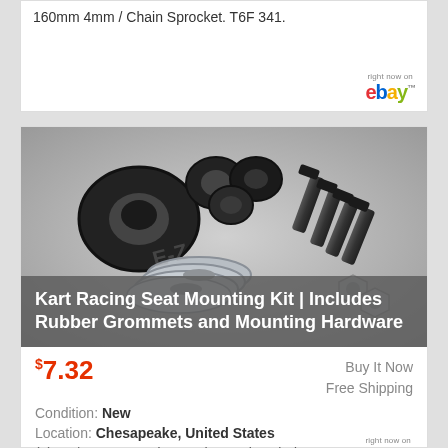160mm 4mm / Chain Sprocket. T6F 341.
[Figure (logo): eBay logo with 'right now on' text above]
[Figure (photo): Kart racing seat mounting kit hardware: rubber grommets, bolts, washers, and nuts on white background]
Kart Racing Seat Mounting Kit | Includes Rubber Grommets and Mounting Hardware
$7.32
Buy It Now
Free Shipping
Condition: New
Location: Chesapeake, United States
(4) 1 1/4" O.D. Fender Washers. Kit Includes.
[Figure (logo): eBay logo with 'right now on' text above]